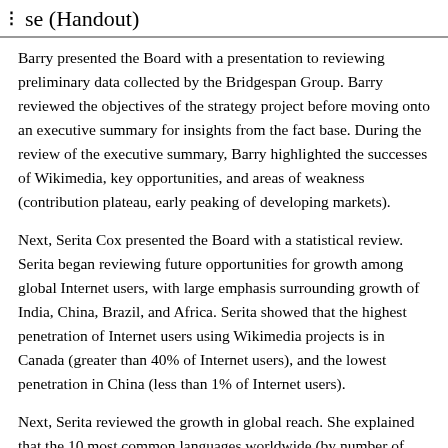se (Handout)
Barry presented the Board with a presentation to reviewing preliminary data collected by the Bridgespan Group. Barry reviewed the objectives of the strategy project before moving onto an executive summary for insights from the fact base. During the review of the executive summary, Barry highlighted the successes of Wikimedia, key opportunities, and areas of weakness (contribution plateau, early peaking of developing markets).
Next, Serita Cox presented the Board with a statistical review. Serita began reviewing future opportunities for growth among global Internet users, with large emphasis surrounding growth of India, China, Brazil, and Africa. Serita showed that the highest penetration of Internet users using Wikimedia projects is in Canada (greater than 40% of Internet users), and the lowest penetration in China (less than 1% of Internet users).
Next, Serita reviewed the growth in global reach. She explained that the 10 most common languages worldwide (by number of speakers) remain underrepresented in native language articles.